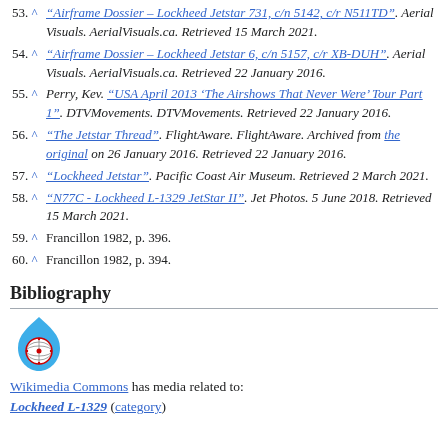53. ^ "Airframe Dossier – Lockheed Jetstar 731, c/n 5142, c/r N511TD". Aerial Visuals. AerialVisuals.ca. Retrieved 15 March 2021.
54. ^ "Airframe Dossier – Lockheed Jetstar 6, c/n 5157, c/r XB-DUH". Aerial Visuals. AerialVisuals.ca. Retrieved 22 January 2016.
55. ^ Perry, Kev. "USA April 2013 'The Airshows That Never Were' Tour Part 1". DTVMovements. DTVMovements. Retrieved 22 January 2016.
56. ^ "The Jetstar Thread". FlightAware. FlightAware. Archived from the original on 26 January 2016. Retrieved 22 January 2016.
57. ^ "Lockheed Jetstar". Pacific Coast Air Museum. Retrieved 2 March 2021.
58. ^ "N77C - Lockheed L-1329 JetStar II". Jet Photos. 5 June 2018. Retrieved 15 March 2021.
59. ^ Francillon 1982, p. 396.
60. ^ Francillon 1982, p. 394.
Bibliography
[Figure (logo): Wikimedia Commons logo — a blue flame/droplet shape with a colorful globe medallion inside]
Wikimedia Commons has media related to: Lockheed L-1329 (category)